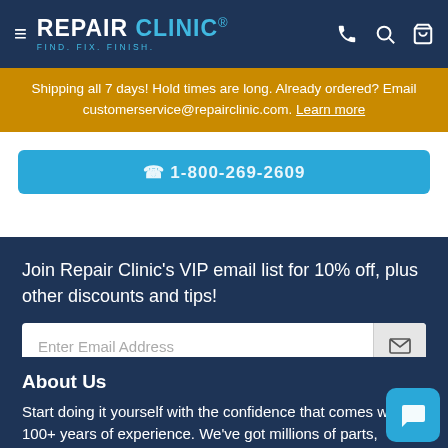REPAIR CLINIC – FIND. FIX. FINISH.
Shipping all 7 days! Hold times are long. Already ordered? Email customerservice@repairclinic.com. Learn more
Join Repair Clinic's VIP email list for 10% off, plus other discounts and tips!
Enter Email Address
About Us
Start doing it yourself with the confidence that comes with 100+ years of experience. We've got millions of parts, hundreds of brands, and thousands of step-by-step videos— everything you need to find